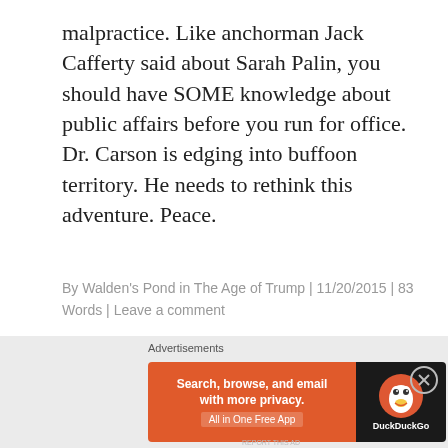malpractice. Like anchorman Jack Cafferty said about Sarah Palin, you should have SOME knowledge about public affairs before you run for office. Dr. Carson is edging into buffoon territory. He needs to rethink this adventure. Peace.
By Walden's Pond in The Age of Trump | 11/20/2015 | 83 Words | Leave a comment
Early Morning Thoughts on American
[Figure (screenshot): DuckDuckGo advertisement banner: orange background with text 'Search, browse, and email with more privacy. All in One Free App' and DuckDuckGo logo on dark background]